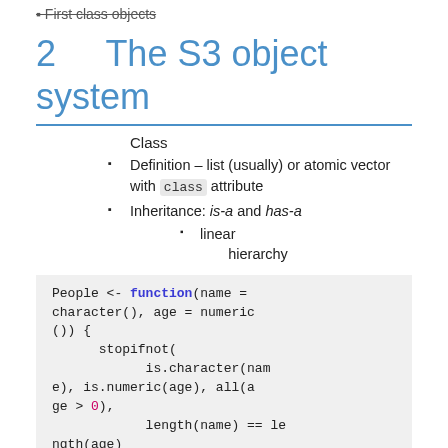First class objects
2   The S3 object system
Class
Definition – list (usually) or atomic vector with class attribute
Inheritance: is-a and has-a
linear hierarchy
[Figure (screenshot): R code block showing People <- function(name = character(), age = numeric()) { stopifnot( is.character(name), is.numeric(age), all(age > 0), length(name) == length(age) ) structure(list(name=na]